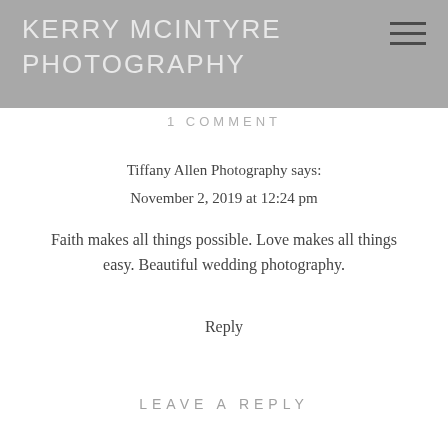KERRY MCINTYRE PHOTOGRAPHY
1 COMMENT
Tiffany Allen Photography says:
November 2, 2019 at 12:24 pm
Faith makes all things possible. Love makes all things easy. Beautiful wedding photography.
Reply
LEAVE A REPLY